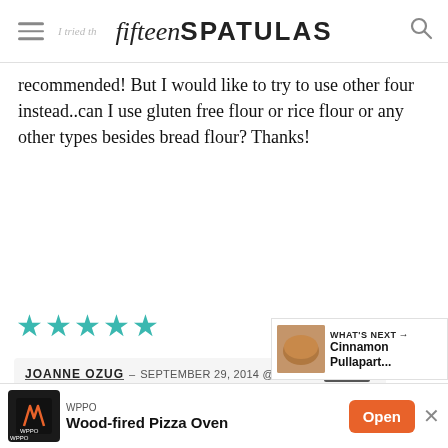fifteen SPATULAS
recommended! But I would like to try to use other four instead..can I use gluten free flour or rice flour or any other types besides bread flour? Thanks!
[Figure (illustration): Five teal/turquoise star rating icons indicating 5-star rating]
JOANNE OZUG – SEPTEMBER 29, 2014 @ 6:33 PM  REPLY
Hi Norain, glad you enjoyed the doughnuts! Unfortunately I don't experience working with alternative flours, but hopefully you can find a
[Figure (screenshot): Social share widget with heart button showing 1.9K likes and share button]
[Figure (infographic): WHAT'S NEXT arrow banner with Cinnamon Pullapart image]
WPPO Wood-fired Pizza Oven  Open